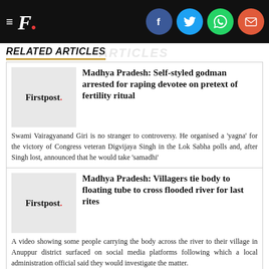F. [Firstpost logo with social share icons: Facebook, Twitter, WhatsApp, Email]
RELATED ARTICLES
[Figure (logo): Firstpost logo thumbnail for article 1]
Madhya Pradesh: Self-styled godman arrested for raping devotee on pretext of fertility ritual
Swami Vairagyanand Giri is no stranger to controversy. He organised a 'yagna' for the victory of Congress veteran Digvijaya Singh in the Lok Sabha polls and, after Singh lost, announced that he would take 'samadhi'
[Figure (logo): Firstpost logo thumbnail for article 2]
Madhya Pradesh: Villagers tie body to floating tube to cross flooded river for last rites
A video showing some people carrying the body across the river to their village in Anuppur district surfaced on social media platforms following which a local administration official said they would investigate the matter.